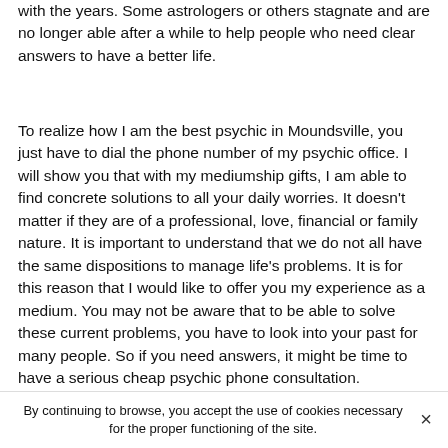with the years. Some astrologers or others stagnate and are no longer able after a while to help people who need clear answers to have a better life.
To realize how I am the best psychic in Moundsville, you just have to dial the phone number of my psychic office. I will show you that with my mediumship gifts, I am able to find concrete solutions to all your daily worries. It doesn't matter if they are of a professional, love, financial or family nature. It is important to understand that we do not all have the same dispositions to manage life's problems. It is for this reason that I would like to offer you my experience as a medium. You may not be aware that to be able to solve these current problems, you have to look into your past for many people. So if you need answers, it might be time to have a serious cheap psychic phone consultation.
...
By continuing to browse, you accept the use of cookies necessary for the proper functioning of the site.